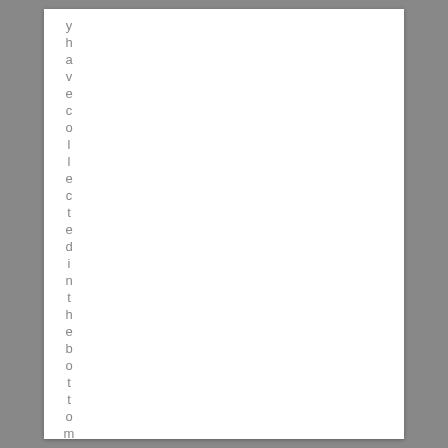y h a v e c o l l e c t e d i n t h e b o t t o m